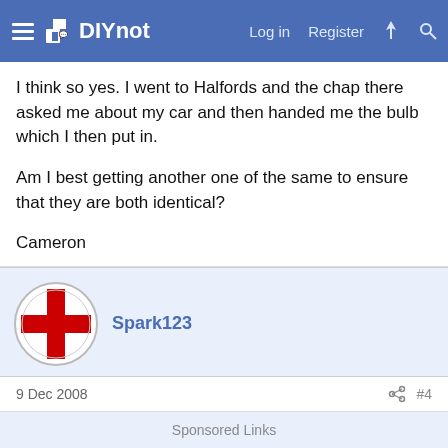DIYnot — Log in | Register
I think so yes. I went to Halfords and the chap there asked me about my car and then handed me the bulb which I then put in.

Am I best getting another one of the same to ensure that they are both identical?

Cameron
Spark123
9 Dec 2008
#4
Possibly - some lamp failure units work by monitoring the current going to each side of the car and comparing the two. If there is a difference then they bring the failure lamp on.
Sponsored Links